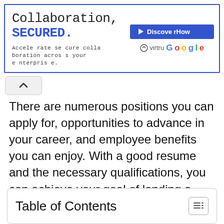[Figure (screenshot): Advertisement banner for Virtru and Google collaboration security product. Text: 'Collaboration, SECURED. Accelerate secure collaboration across your enterprise.' with 'Discover How' button and Virtru Google branding.]
There are numerous positions you can apply for, opportunities to advance in your career, and employee benefits you can enjoy. With a good resume and the necessary qualifications, you can achieve your goal of landing a bank job.
Table of Contents